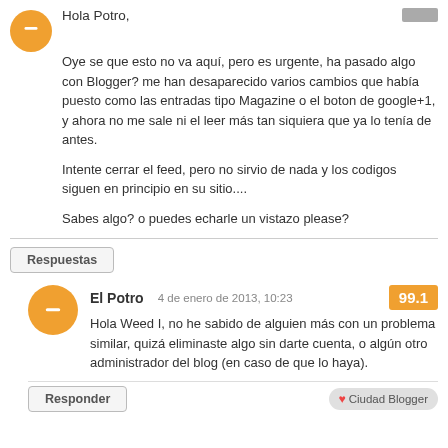Hola Potro,
Oye se que esto no va aquí, pero es urgente, ha pasado algo con Blogger? me han desaparecido varios cambios que había puesto como las entradas tipo Magazine o el boton de google+1, y ahora no me sale ni el leer más tan siquiera que ya lo tenía de antes.
Intente cerrar el feed, pero no sirvio de nada y los codigos siguen en principio en su sitio....
Sabes algo? o puedes echarle un vistazo please?
Respuestas
El Potro  4 de enero de 2013, 10:23  99.1
Hola Weed I, no he sabido de alguien más con un problema similar, quizá eliminaste algo sin darte cuenta, o algún otro administrador del blog (en caso de que lo haya).
Responder  I ♥ Ciudad Blogger